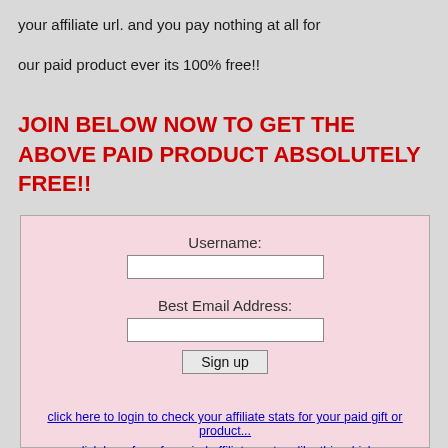your affiliate url. and you pay nothing at all for our paid product ever its 100% free!!
JOIN BELOW NOW TO GET THE ABOVE PAID PRODUCT ABSOLUTELY FREE!!
Username:
Best Email Address:
Sign up
click here to login to check your affiliate stats for your paid gift or product...
click here for a free viral affiliate system,like this which